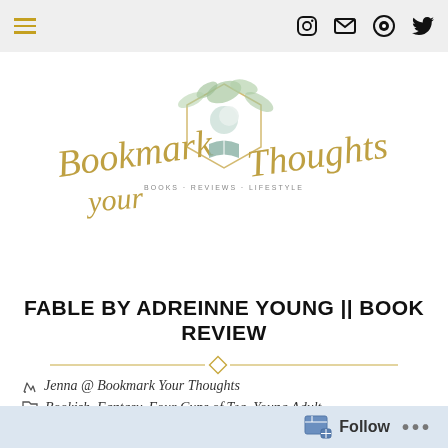Navigation bar with hamburger menu and social icons
[Figure (logo): Bookmark Your Thoughts blog logo with cursive script text, botanical hexagon frame, moon and open book illustration, subtitle BOOKS · REVIEWS · LIFESTYLE]
FABLE BY ADREINNE YOUNG || BOOK REVIEW
Jenna @ Bookmark Your Thoughts
Bookish, Fantasy, Four Cups of Tea, Young Adult
2021, Adventure, Blog, Book Blog, Bookish, Fantasy, LGBTQIA+, Romance, Young Adult
Follow ...